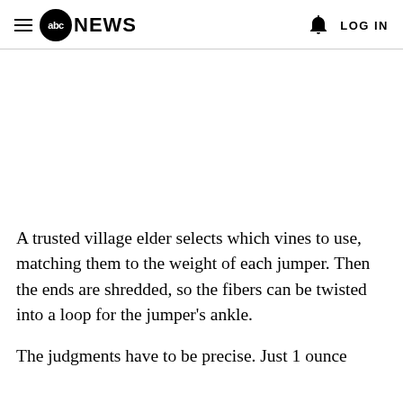abc NEWS  LOG IN
A trusted village elder selects which vines to use, matching them to the weight of each jumper. Then the ends are shredded, so the fibers can be twisted into a loop for the jumper’s ankle.
The judgments have to be precise. Just 1 ounce